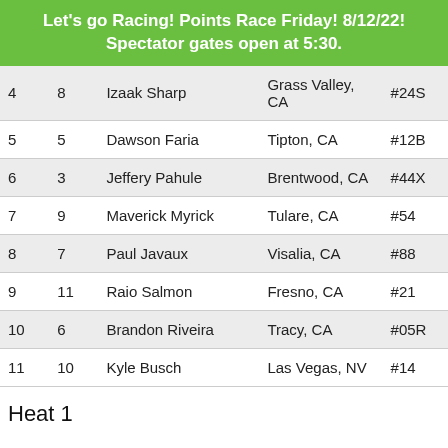Let's go Racing! Points Race Friday! 8/12/22! Spectator gates open at 5:30.
| 4 | 8 | Izaak Sharp | Grass Valley, CA | #24S |
| 5 | 5 | Dawson Faria | Tipton, CA | #12B |
| 6 | 3 | Jeffery Pahule | Brentwood, CA | #44X |
| 7 | 9 | Maverick Myrick | Tulare, CA | #54 |
| 8 | 7 | Paul Javaux | Visalia, CA | #88 |
| 9 | 11 | Raio Salmon | Fresno, CA | #21 |
| 10 | 6 | Brandon Riveira | Tracy, CA | #05R |
| 11 | 10 | Kyle Busch | Las Vegas, NV | #14 |
Heat 1